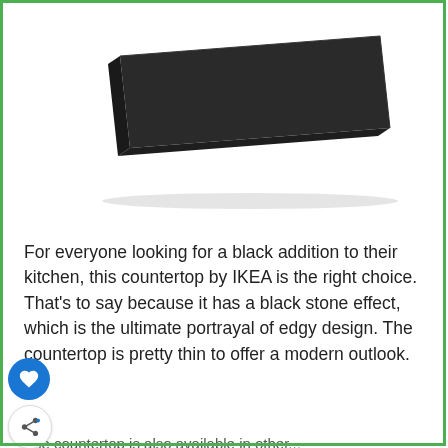[Figure (photo): A dark charcoal/black rectangular countertop/shelf panel photographed at a slight angle on a white background, showing a flat stone-effect surface with thin profile.]
For everyone looking for a black addition to their kitchen, this countertop by IKEA is the right choice. That’s to say because it has a black stone effect, which is the ultimate portrayal of edgy design. The countertop is pretty thin to offer a modern outlook.